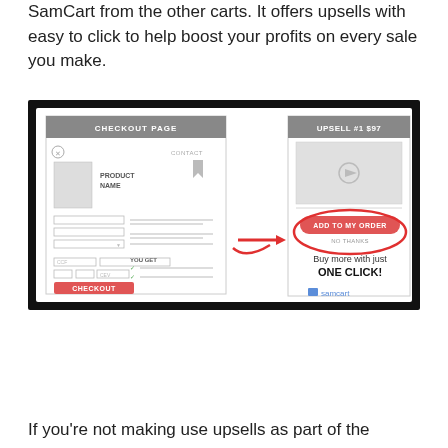SamCart from the other carts. It offers upsells with easy to click to help boost your profits on every sale you make.
[Figure (screenshot): Screenshot of SamCart upsell flow showing a checkout page on the left with product name, contact fields, and a checkout button, connected by a red arrow to an upsell page on the right showing 'UPSELL #1 $97' with an 'ADD TO MY ORDER' button circled in red and text reading 'Buy more with just ONE CLICK!' and the SamCart logo.]
If you're not making use upsells as part of the